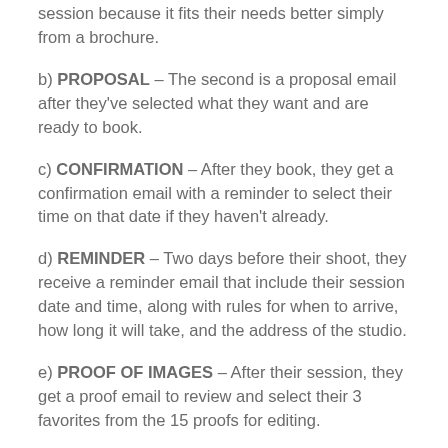session because it fits their needs better simply from a brochure.
b) PROPOSAL – The second is a proposal email after they've selected what they want and are ready to book.
c) CONFIRMATION – After they book, they get a confirmation email with a reminder to select their time on that date if they haven't already.
d) REMINDER – Two days before their shoot, they receive a reminder email that include their session date and time, along with rules for when to arrive, how long it will take, and the address of the studio.
e) PROOF OF IMAGES – After their session, they get a proof email to review and select their 3 favorites from the 15 proofs for editing.
f) FINAL IMAGES – Once they select their three, I'll edit and then send them a final email with the final edits.